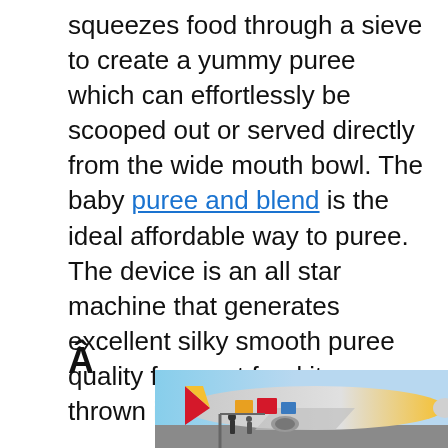squeezes food through a sieve to create a yummy puree which can effortlessly be scooped out or served directly from the wide mouth bowl. The baby puree and blend is the ideal affordable way to puree. The device is an all star machine that generates excellent silky smooth puree quality for most food items thrown its way.
Â
[Figure (photo): Advertisement photo showing cargo being loaded onto a colorful airplane (appears to be Southwest Airlines colors - red, yellow, blue). An overlay banner reads 'WITHOUT REGARD TO POLITICS, RELIGION, OR ABILITY TO PAY'.]